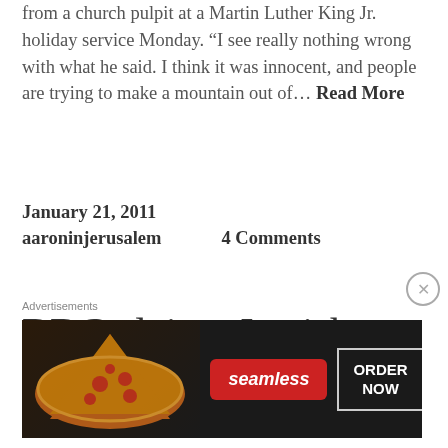from a church pulpit at a Martin Luther King Jr. holiday service Monday. “I see really nothing wrong with what he said. I think it was innocent, and people are trying to make a mountain out of… Read More
January 21, 2011
aaroninjerusalem        4 Comments
BBC claims Jewish King David
[Figure (infographic): Seamless food delivery advertisement banner with pizza image, Seamless logo on red badge, and ORDER NOW button in white border box on dark background]